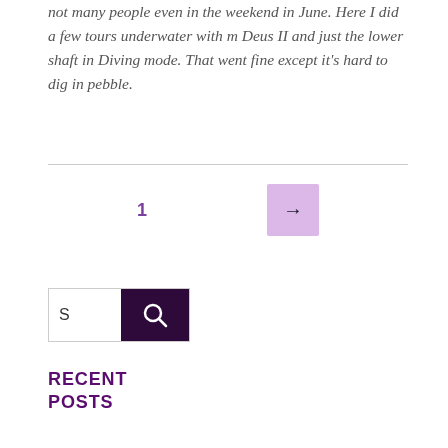not many people even in the weekend in June. Here I did a few tours underwater with m Deus II and just the lower shaft in Diving mode. That went fine except it's hard to dig in pebble.
[Figure (screenshot): Pagination controls: page number '1' in purple and a next arrow button with pink/lavender background]
[Figure (screenshot): Search widget with dark purple search icon button on the right]
RECENT POSTS